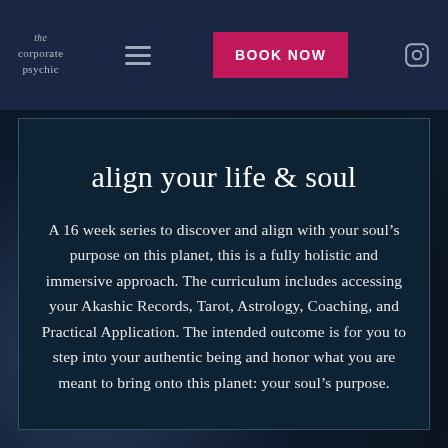the corporate psychic
align your life & soul
A 16 week series to discover and align with your soul’s purpose on this planet, this is a fully holistic and immersive approach. The curriculum includes accessing your Akashic Records, Tarot, Astrology, Coaching, and Practical Application. The intended outcome is for you to step into your authentic being and honor what you are meant to bring onto this planet: your soul’s purpose.